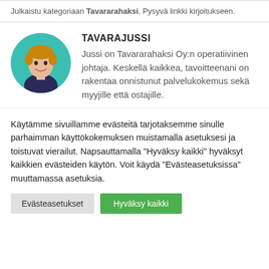Julkaistu kategoriaan Tavararahaksi. Pysyvä linkki kirjoitukseen.
[Figure (photo): Circular avatar photo of a smiling young man with short hair against a teal background]
TAVARAJUSSI
Jussi on Tavararahaksi Oy:n operatiivinen johtaja. Keskellä kaikkea, tavoitteenani on rakentaa onnistunut palvelukokemus sekä myyjille että ostajille.
Käytämme sivuillamme evästeitä tarjotaksemme sinulle parhaimman käyttökokemuksen muistamalla asetuksesi ja toistuvat vierailut. Napsauttamalla "Hyväksy kaikki" hyväksyt kaikkien evästeiden käytön. Voit käydä "Evästeasetuksissa" muuttamassa asetuksia.
Evästeasetukset
Hyväksy kaikki